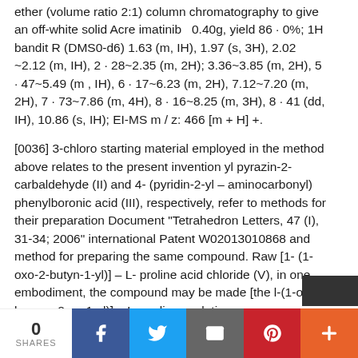ether (volume ratio 2:1) column chromatography to give an off-white solid Acre imatinib 0.40g, yield 86·0%; 1H bandit R (DMS0-d6) 1.63 (m, IH), 1.97 (s, 3H), 2.02 ~2.12 (m, IH), 2·28~2.35 (m, 2H); 3.36~3.85 (m, 2H), 5·47~5.49 (m, IH), 6·17~6.23 (m, 2H), 7.12~7.20 (m, 2H), 7·73~7.86 (m, 4H), 8·16~8.25 (m, 3H), 8·41 (dd, IH), 10.86 (s, IH); EI-MS m / z: 466 [m + H] +.
[0036] 3-chloro starting material employed in the method above relates to the present invention yl pyrazin-2-carbaldehyde (II) and 4-(pyridin-2-yl – aminocarbonyl) phenylboronic acid (III), respectively, refer to methods for their preparation Document "Tetrahedron Letters, 47 (I), 31-34; 2006" international Patent W02013010868 and method for preparing the same compound. Raw [1-(1-oxo-2-butyn-1-yl)] – L- proline acid chloride (V), in one embodiment, the compound may be made [the l-(1-oxo-known -2-yn-1-yl)] – L- proline acylation.